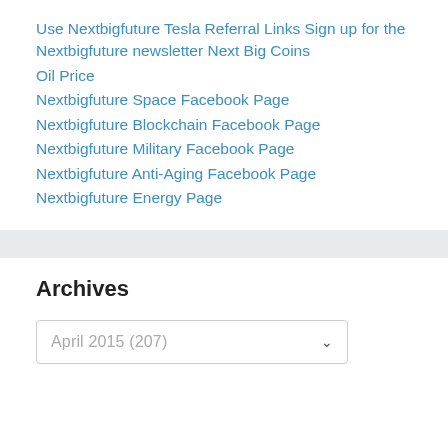Use Nextbigfuture Tesla Referral Links Sign up for the Nextbigfuture newsletter Next Big Coins
Oil Price
Nextbigfuture Space Facebook Page
Nextbigfuture Blockchain Facebook Page
Nextbigfuture Military Facebook Page
Nextbigfuture Anti-Aging Facebook Page
Nextbigfuture Energy Page
Archives
April 2015  (207)